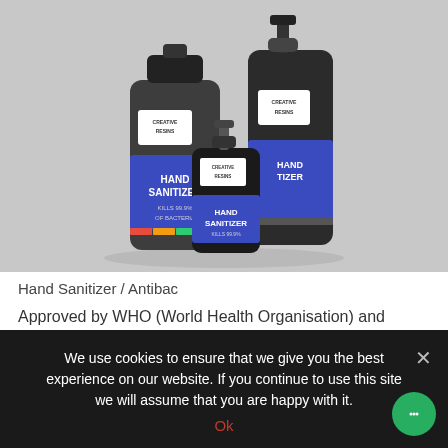[Figure (photo): Three Creative Resins Hand Sanitizer bottles of different sizes arranged together on a grey background, with blue labels reading HAND SANITIZER.]
Hand Sanitizer / Antibac
Approved by WHO (World Health Organisation) and manufactured here at Creative Resins, our Hand Shield kills 99.9% of bacteria and common germs that may cause illness, so with COVID-19 still a
We use cookies to ensure that we give you the best experience on our website. If you continue to use this site we will assume that you are happy with it.
Ok